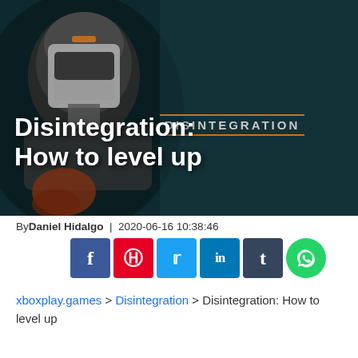[Figure (photo): Hero image for 'Disintegration: How to level up' article. Shows a robotic armored figure against a dark teal background, with the game logo 'DISINTEGRATION' in the middle, and the article title 'Disintegration: How to level up' overlaid in large white bold text.]
By Daniel Hidalgo | 2020-06-16 10:38:46
[Figure (infographic): Social share buttons: Facebook (blue), Pinterest (red), Twitter (light blue), LinkedIn (dark blue), Tumblr (dark slate), WhatsApp (green)]
xboxplay.games > Disintegration > Disintegration: How to level up